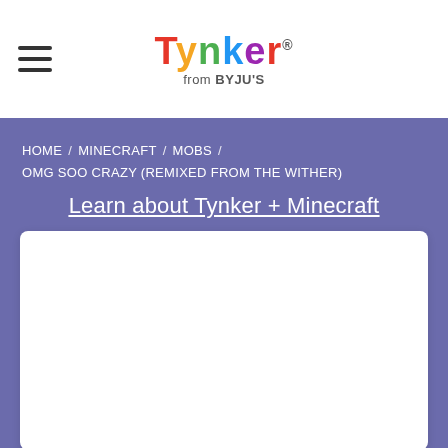Tynker from BYJU'S
HOME / MINECRAFT / MOBS / OMG SOO CRAZY (REMIXED FROM THE WITHER)
Learn about Tynker + Minecraft
[Figure (other): White content card area, empty]